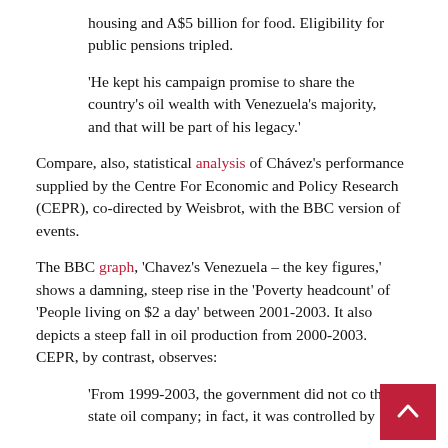housing and A$5 billion for food. Eligibility for public pensions tripled.
'He kept his campaign promise to share the country's oil wealth with Venezuela's majority, and that will be part of his legacy.'
Compare, also, statistical analysis of Chávez's performance supplied by the Centre For Economic and Policy Research (CEPR), co-directed by Weisbrot, with the BBC version of events.
The BBC graph, 'Chavez's Venezuela – the key figures,' shows a damning, steep rise in the 'Poverty headcount' of 'People living on $2 a day' between 2001-2003. It also depicts a steep fall in oil production from 2000-2003. CEPR, by contrast, observes:
'From 1999-2003, the government did not co the state oil company; in fact, it was controlled by